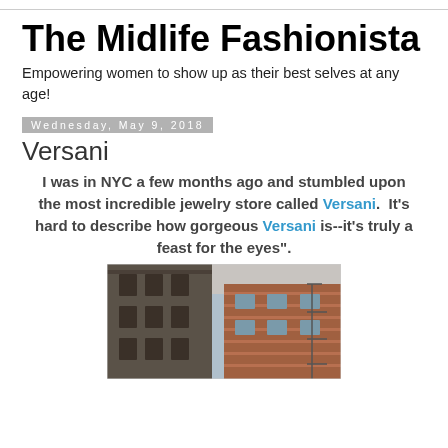The Midlife Fashionista
Empowering women to show up as their best selves at any age!
Wednesday, May 9, 2018
Versani
I was in NYC a few months ago and stumbled upon the most incredible jewelry store called Versani.  It's hard to describe how gorgeous Versani is--it's truly a feast for the eyes".
[Figure (photo): Street-level photo of NYC buildings, showing two brick/stone building facades side by side, taken from ground looking up.]